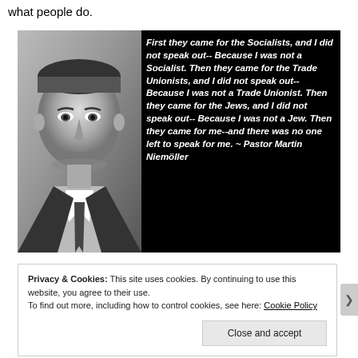what people do.
[Figure (photo): Black and white portrait photo of Pastor Martin Niemöller on the left side of a dark image. On the right side, bold italic white text reads: 'First they came for the Socialists, and I did not speak out-- Because I was not a Socialist. Then they came for the Trade Unionists, and I did not speak out-- Because I was not a Trade Unionist. Then they came for the Jews, and I did not speak out-- Because I was not a Jew. Then they came for me--and there was no one left to speak for me. ~ Pastor Martin Niemöller']
Privacy & Cookies: This site uses cookies. By continuing to use this website, you agree to their use.
To find out more, including how to control cookies, see here: Cookie Policy
Close and accept